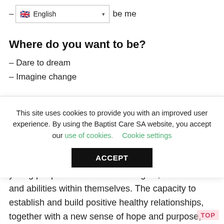– B... be me
Where do you want to be?
– Dare to dream
– Imagine change
This site uses cookies to provide you with an improved user experience. By using the Baptist Care SA website, you accept our use of cookies.    Cookie settings
ACCEPT
Other Drug Adventure Therapy Program – helps young people discover new strengths, resilience and abilities within themselves. The capacity to establish and build positive healthy relationships, together with a new sense of hope and purpose,